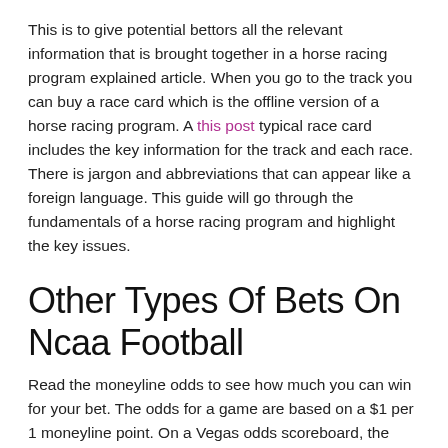This is to give potential bettors all the relevant information that is brought together in a horse racing program explained article. When you go to the track you can buy a race card which is the offline version of a horse racing program. A this post typical race card includes the key information for the track and each race. There is jargon and abbreviations that can appear like a foreign language. This guide will go through the fundamentals of a horse racing program and highlight the key issues.
Other Types Of Bets On Ncaa Football
Read the moneyline odds to see how much you can win for your bet. The odds for a game are based on a $1 per 1 moneyline point. On a Vegas odds scoreboard, the moneyline odds are usually to the furthest right.